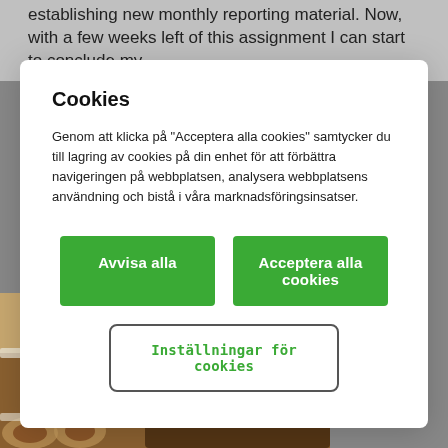establishing new monthly reporting material. Now, with a few weeks left of this assignment I can start to conclude my
Cookies
Genom att klicka på "Acceptera alla cookies" samtycker du till lagring av cookies på din enhet för att förbättra navigeringen på webbplatsen, analysera webbplatsens användning och bistå i våra marknadsföringsinsatser.
Avvisa alla
Acceptera alla cookies
Inställningar för cookies
[Figure (photo): Photo of various cookies and baked goods displayed on white trays and plates, with a container of mixed cookies visible in the background.]